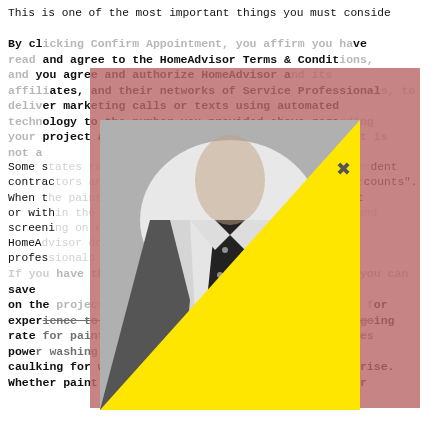This is one of the most important things you must conside
By clicking Confirm Appointment, you affirm you have read and agree to the HomeAdvisor Terms & Conditions, and you agree and authorize HomeAdvisor and its affiliates, and their networks of Service Professionals, to deliver marketing calls or texts using automated technology to the number you provided above regarding your project and other home services offers. Consent is not a
[Figure (photo): Black and white photo of a man in a suit with polka dot tie and pocket square, with a large yellow triangle overlaid in the bottom right, and a pink/red rectangular overlay behind the photo.]
Some s... ndent contrac... ounts". When t... count or with... screeni... HomeA... rvice profess...
If you... save on the... or experience to tackle to job, it's worth paying the going rate for painters in your area. If your home requires power washing prior to painting, and if it requires caulking for windows and doors, the cost will also rise. Whether paint is applied with a sprayer, brushed, or